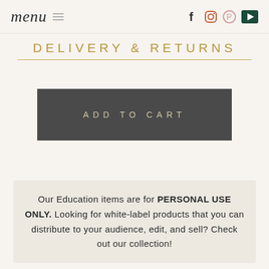menu — navigation header with social icons: Facebook, Instagram, Pinterest, YouTube
DELIVERY & RETURNS
[Figure (other): ADD TO CART button — dark gray button with gold/cream text]
Our Education items are for PERSONAL USE ONLY. Looking for white-label products that you can distribute to your audience, edit, and sell? Check out our collection!